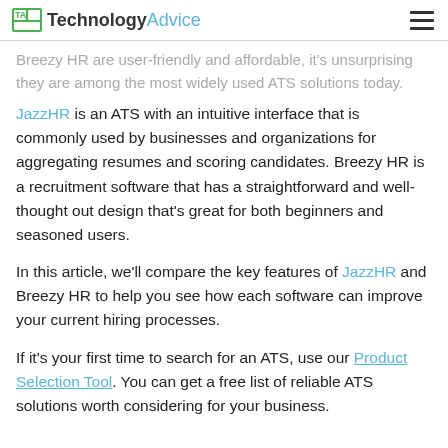TechnologyAdvice
Breezy HR are user-friendly and affordable, it’s unsurprising they are among the most widely used ATS solutions today.
JazzHR is an ATS with an intuitive interface that is commonly used by businesses and organizations for aggregating resumes and scoring candidates. Breezy HR is a recruitment software that has a straightforward and well-thought out design that’s great for both beginners and seasoned users.
In this article, we’ll compare the key features of JazzHR and Breezy HR to help you see how each software can improve your current hiring processes.
If it’s your first time to search for an ATS, use our Product Selection Tool. You can get a free list of reliable ATS solutions worth considering for your business.